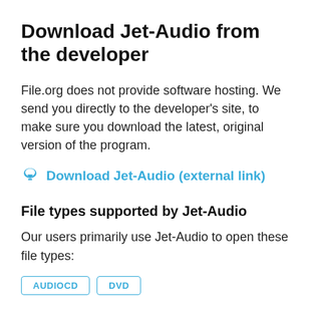Download Jet-Audio from the developer
File.org does not provide software hosting. We send you directly to the developer's site, to make sure you download the latest, original version of the program.
Download Jet-Audio (external link)
File types supported by Jet-Audio
Our users primarily use Jet-Audio to open these file types:
AUDIOCD   DVD